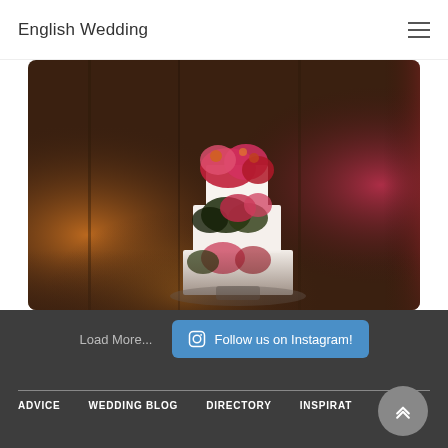English Wedding
[Figure (photo): A white multi-tier wedding cake decorated with painted floral designs in red, pink, and dark foliage, photographed in a dark rustic barn setting with warm bokeh lighting in the background.]
Load More...
Follow us on Instagram!
ADVICE   WEDDING BLOG   DIRECTORY   INSPIRAT...